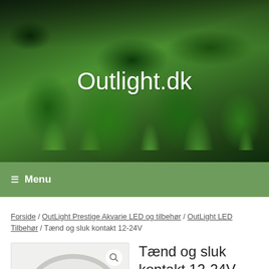[Figure (photo): Aquarium banner with lush green aquatic plants and fish, overlaid with white text 'Outlight.dk']
Outlight.dk
Menu
Forside / OutLight Prestige Akvarie LED og tilbehør / OutLight LED Tilbehør / Tænd og sluk kontakt 12-24V
[Figure (photo): Product photo of a round switch/contact, light grey/white colored, circular shape visible against light background with magnify icon]
Tænd og sluk kontakt 12-24V
44,00 kr.